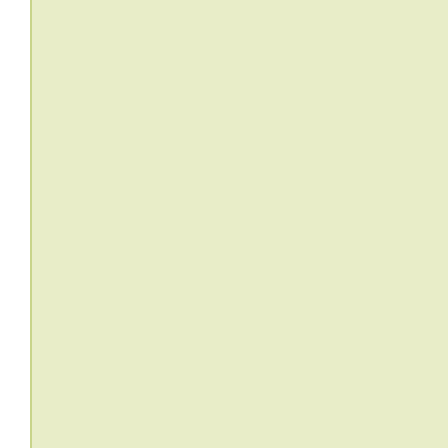13 - get paper here
OSENEGG, K. 199... Südwesten Frankr...
OSENEGG, K. 199... Lacerta(Zootoca) v... Bonn,Germany; pp...
Paulesu, Luana; S... Cytokines in verteb...
Peñalver-Alcázar, ... vivipara (Jacquin, ...
Pereleshin S. D. a... Russian]. Trudy Sa...
Pérez I de Lanuza ... favours contrasting... here
Petrov B. P., N. Tz... Reptilia) of the We... 3. Biodiversity of W... 912
Petzold, H.-G. 197... Salamandra 14 (2)...
Pottier G., Paumie... L., Heaulmé V., Es... reptiles et amphibi... Toulouse, 126 pp.
Reading, Christoph...